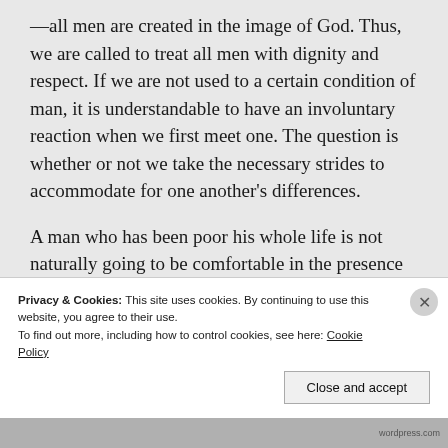—all men are created in the image of God. Thus, we are called to treat all men with dignity and respect. If we are not used to a certain condition of man, it is understandable to have an involuntary reaction when we first meet one. The question is whether or not we take the necessary strides to accommodate for one another's differences.
A man who has been poor his whole life is not naturally going to be comfortable in the presence of wealthy people, nor is a man who has never been to a homeless shelter going to immediately feel at home serving in a
Privacy & Cookies: This site uses cookies. By continuing to use this website, you agree to their use.
To find out more, including how to control cookies, see here: Cookie Policy